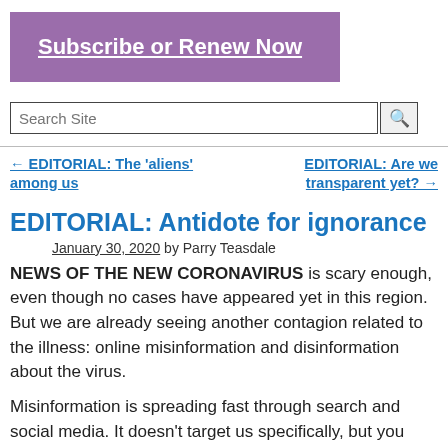[Figure (other): Purple banner button with text 'Subscribe or Renew Now' in white bold underlined font]
[Figure (other): Search site input box with magnifying glass search button]
← EDITORIAL: The 'aliens' among us
EDITORIAL: Are we transparent yet? →
EDITORIAL: Antidote for ignorance
January 30, 2020 by Parry Teasdale
NEWS OF THE NEW CORONAVIRUS is scary enough, even though no cases have appeared yet in this region. But we are already seeing another contagion related to the illness: online misinformation and disinformation about the virus.
Misinformation is spreading fast through search and social media. It doesn't target us specifically, but you don't have to search long (less than 30 seconds on Google) to find a "Natural Remedy" for a viral infection that does not yet